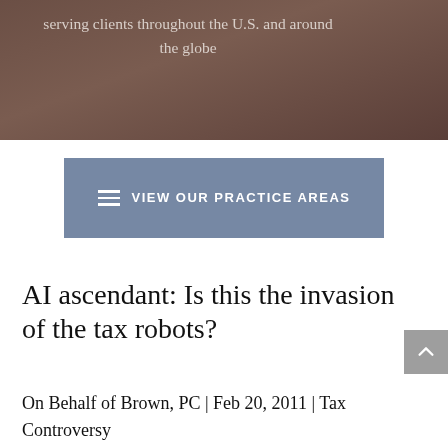serving clients throughout the U.S. and around the globe
VIEW OUR PRACTICE AREAS
AI ascendant: Is this the invasion of the tax robots?
On Behalf of Brown, PC | Feb 20, 2011 | Tax Controversy